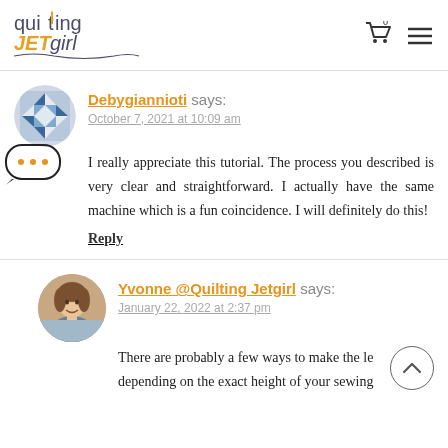Quilting JETgirl
Debygiannioti says:
October 7, 2021 at 10:09 am
I really appreciate this tutorial. The process you described is very clear and straightforward. I actually have the same machine which is a fun coincidence. I will definitely do this!
Reply
Yvonne @Quilting Jetgirl says:
January 22, 2022 at 2:37 pm
There are probably a few ways to make the le depending on the exact height of your sewing